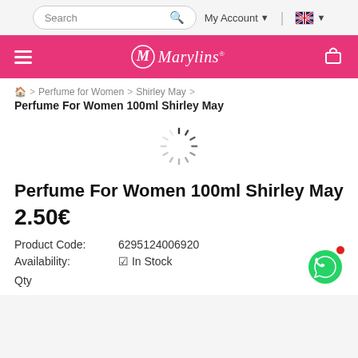Search | My Account | [flag]
[Figure (logo): Marylins pink banner logo with hamburger menu and cart icon]
🏠 > Perfume for Women > Shirley May > Perfume For Women 100ml Shirley May
[Figure (other): Loading spinner graphic]
Perfume For Women 100ml Shirley May
2.50€
Product Code: 6295124006920
Availability: ✔ In Stock
Qty